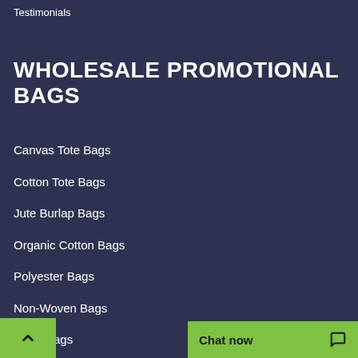Testimonials
WHOLESALE PROMOTIONAL BAGS
Canvas Tote Bags
Cotton Tote Bags
Jute Burlap Bags
Organic Cotton Bags
Polyester Bags
Non-Woven Bags
Clear Bags
enger Bags
Duffel Bags